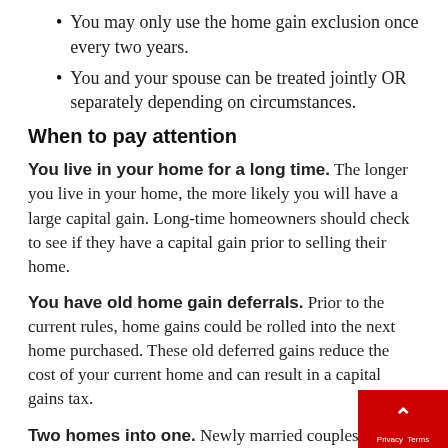You may only use the home gain exclusion once every two years.
You and your spouse can be treated jointly OR separately depending on circumstances.
When to pay attention
You live in your home for a long time. The longer you live in your home, the more likely you will have a large capital gain. Long-time homeowners should check to see if they have a capital gain prior to selling their home.
You have old home gain deferrals. Prior to the current rules, home gains could be rolled into the next home purchased. These old deferred gains reduce the cost of your current home and can result in a capital gains tax.
Two homes into one. Newly married couples with two homes have a potential tax liability as both individuals may pass the required tests on their own property but not on